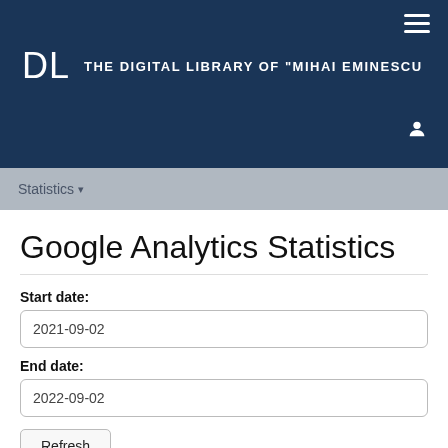THE DIGITAL LIBRARY OF "MIHAI EMINESCU"
Google Analytics Statistics
Start date:
2021-09-02
End date:
2022-09-02
Refresh